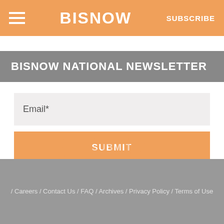BISNOW | SUBSCRIBE
BISNOW NATIONAL NEWSLETTER
Email*
SUBMIT
/ Careers / Contact Us / FAQ / Archives / Privacy Policy / Terms of Use